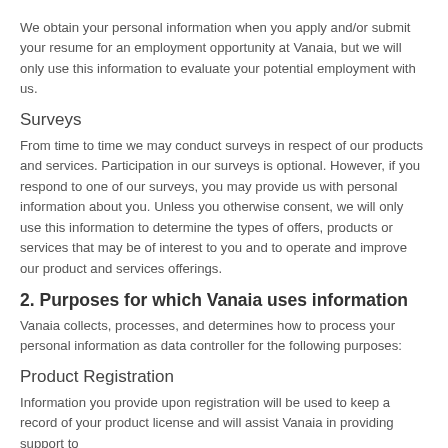We obtain your personal information when you apply and/or submit your resume for an employment opportunity at Vanaia, but we will only use this information to evaluate your potential employment with us.
Surveys
From time to time we may conduct surveys in respect of our products and services. Participation in our surveys is optional. However, if you respond to one of our surveys, you may provide us with personal information about you. Unless you otherwise consent, we will only use this information to determine the types of offers, products or services that may be of interest to you and to operate and improve our product and services offerings.
2. Purposes for which Vanaia uses information
Vanaia collects, processes, and determines how to process your personal information as data controller for the following purposes:
Product Registration
Information you provide upon registration will be used to keep a record of your product license and will assist Vanaia in providing support to